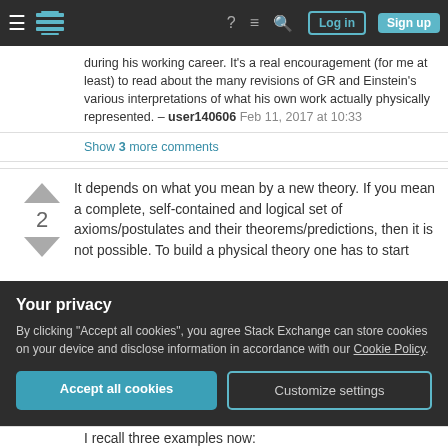Stack Exchange navigation bar with hamburger menu, logo, help, chat, search icons, Log in and Sign up buttons
during his working career. It's a real encouragement (for me at least) to read about the many revisions of GR and Einstein's various interpretations of what his own work actually physically represented. – user140606 Feb 11, 2017 at 10:33
Show 3 more comments
It depends on what you mean by a new theory. If you mean a complete, self-contained and logical set of axioms/postulates and their theorems/predictions, then it is not possible. To build a physical theory one has to start
Your privacy
By clicking "Accept all cookies", you agree Stack Exchange can store cookies on your device and disclose information in accordance with our Cookie Policy.
Accept all cookies
Customize settings
I recall three examples now: